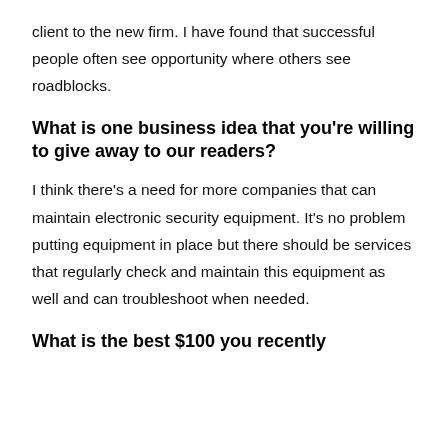client to the new firm. I have found that successful people often see opportunity where others see roadblocks.
What is one business idea that you're willing to give away to our readers?
I think there's a need for more companies that can maintain electronic security equipment. It's no problem putting equipment in place but there should be services that regularly check and maintain this equipment as well and can troubleshoot when needed.
What is the best $100 you recently